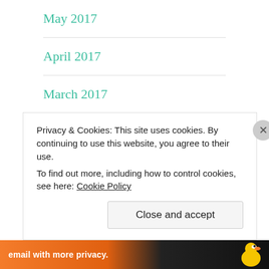May 2017
April 2017
March 2017
February 2017
January 2017
December 2016
Privacy & Cookies: This site uses cookies. By continuing to use this website, you agree to their use.
To find out more, including how to control cookies, see here: Cookie Policy
Close and accept
email with more privacy.